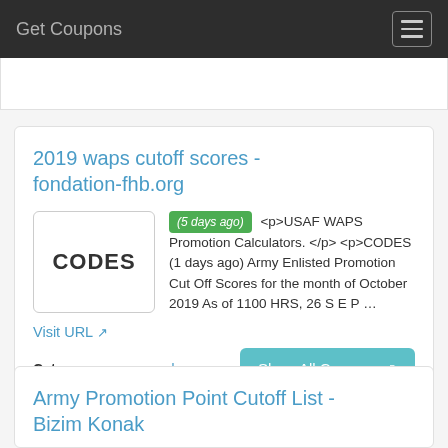Get Coupons
2019 waps cutoff scores - fondation-fhb.org
(5 days ago) <p>USAF WAPS Promotion Calculators. </p> <p>CODES (1 days ago) Army Enlisted Promotion Cut Off Scores for the month of October 2019 As of 1100 HRS, 26 S E P …
Visit URL
Category:  coupon codes
Army Promotion Point Cutoff List - Bizim Konak